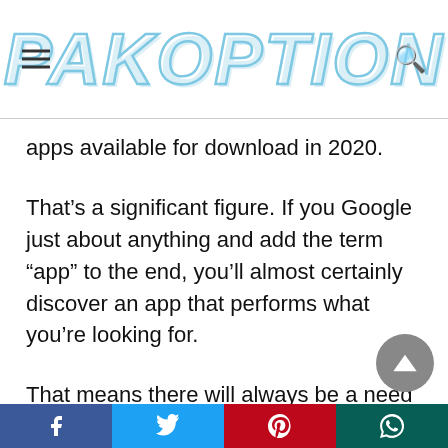PAKOPTION
apps available for download in 2020.
That’s a significant figure. If you Google just about anything and add the term “app” to the end, you’ll almost certainly discover an app that performs what you’re looking for.
That means there will always be a need to make and use apps, no matter where you travel or what you do. The good news is that the app development industry has long recognized this and has sought to make it as simple as possible for
Facebook | Twitter | Pinterest | WhatsApp